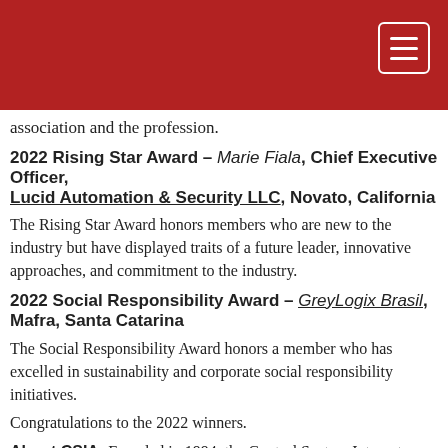[navigation header bar with hamburger menu]
association and the profession.
2022 Rising Star Award – Marie Fiala, Chief Executive Officer, Lucid Automation & Security LLC, Novato, California
The Rising Star Award honors members who are new to the industry but have displayed traits of a future leader, innovative approaches, and commitment to the industry.
2022 Social Responsibility Award – GreyLogix Brasil, Mafra, Santa Catarina
The Social Responsibility Award honors a member who has excelled in sustainability and corporate social responsibility initiatives.
Congratulations to the 2022 winners.
About CSIA: Founded in 1994, the Control System Integrators Association (CSIA) is a not-for-profit, global trade association that seeks to advance the industry of control system integration. Control system integrators use their engineering, technical and